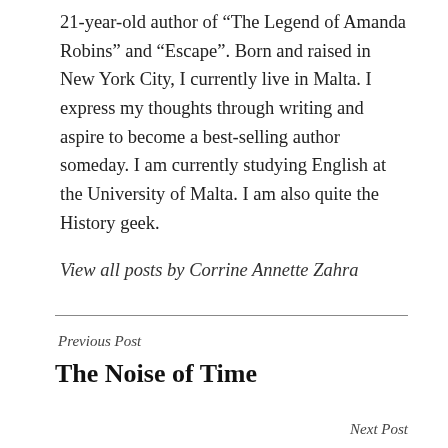21-year-old author of “The Legend of Amanda Robins” and “Escape”. Born and raised in New York City, I currently live in Malta. I express my thoughts through writing and aspire to become a best-selling author someday. I am currently studying English at the University of Malta. I am also quite the History geek.
View all posts by Corrine Annette Zahra
Previous Post
The Noise of Time
Next Post